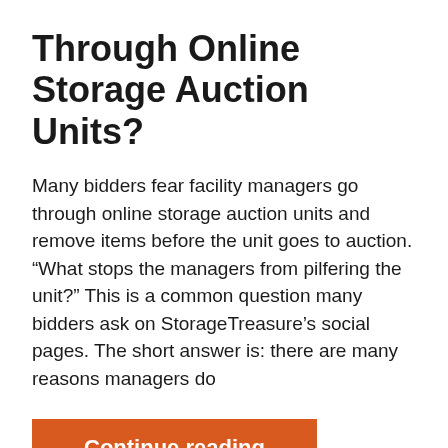Through Online Storage Auction Units?
Many bidders fear facility managers go through online storage auction units and remove items before the unit goes to auction. “What stops the managers from pilfering the unit?” This is a common question many bidders ask on StorageTreasure’s social pages. The short answer is: there are many reasons managers do
Continue reading